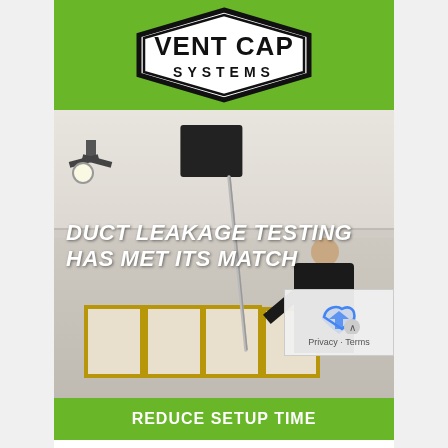[Figure (logo): Vent Cap Systems logo — bold black hexagonal badge outline with 'VENT CAP' in large serif letters above and 'SYSTEMS' below, on a green background]
[Figure (photo): Person in black shirt using a long pole to place or remove a square black vent cap cover on a ceiling vent. Room has crown molding, chandelier light fixture, and framed pictures on beige wall. Text overlay reads: DUCT LEAKAGE TESTING HAS MET ITS MATCH]
DUCT LEAKAGE TESTING HAS MET ITS MATCH
REDUCE SETUP TIME